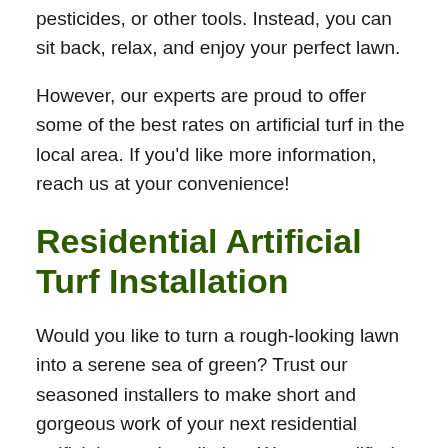pesticides, or other tools. Instead, you can sit back, relax, and enjoy your perfect lawn.
However, our experts are proud to offer some of the best rates on artificial turf in the local area. If you'd like more information, reach us at your convenience!
Residential Artificial Turf Installation
Would you like to turn a rough-looking lawn into a serene sea of green? Trust our seasoned installers to make short and gorgeous work of your next residential artificial grass installation. We are qualified experts that have spent many years listening to the desires of our clients and then assisting in making those dreams come to life with some of the best quality products available on the market today.